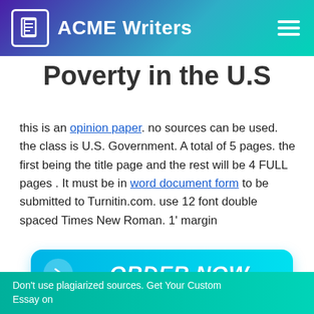ACME Writers
Poverty in the U.S
this is an opinion paper. no sources can be used. the class is U.S. Government. A total of 5 pages. the first being the title page and the rest will be 4 FULL pages . It must be in word document form to be submitted to Turnitin.com. use 12 font double spaced Times New Roman. 1' margin
[Figure (other): ORDER NOW button in cyan/teal gradient with arrow icon]
Don't use plagiarized sources. Get Your Custom Essay on